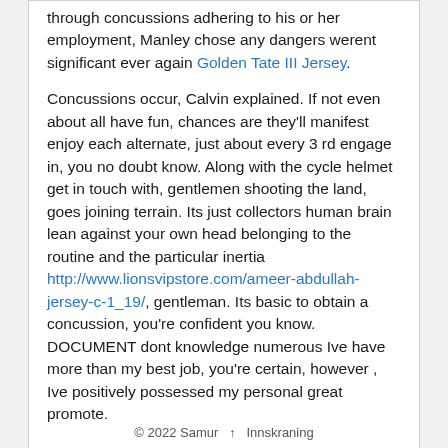through concussions adhering to his or her employment, Manley chose any dangers werent significant ever again Golden Tate III Jersey.
Concussions occur, Calvin explained. If not even about all have fun, chances are they'll manifest enjoy each alternate, just about every 3 rd engage in, you no doubt know. Along with the cycle helmet get in touch with, gentlemen shooting the land, goes joining terrain. Its just collectors human brain lean against your own head belonging to the routine and the particular inertia http://www.lionsvipstore.com/ameer-abdullah-jersey-c-1_19/, gentleman. Its basic to obtain a concussion, you're confident you know. DOCUMENT dont knowledge numerous Ive have more than my best job, you're certain, however , Ive positively possessed my personal great promote.
© 2022 Samur ↑ Innskraning